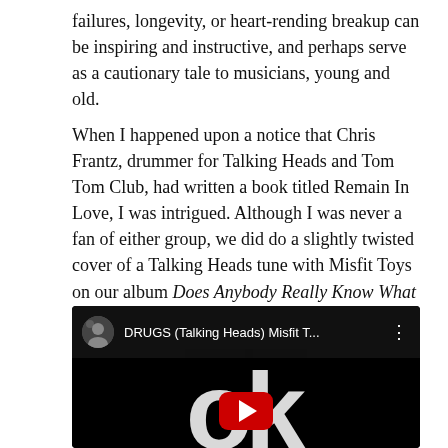failures, longevity, or heart-rending breakup can be inspiring and instructive, and perhaps serve as a cautionary tale to musicians, young and old.
When I happened upon a notice that Chris Frantz, drummer for Talking Heads and Tom Tom Club, had written a book titled Remain In Love, I was intrigued. Although I was never a fan of either group, we did do a slightly twisted cover of a Talking Heads tune with Misfit Toys on our album Does Anybody Really Know What Time It Is?
[Figure (screenshot): YouTube video embed showing 'DRUGS (Talking Heads) Misfit T...' with a play button over a black background with large white OK letters]